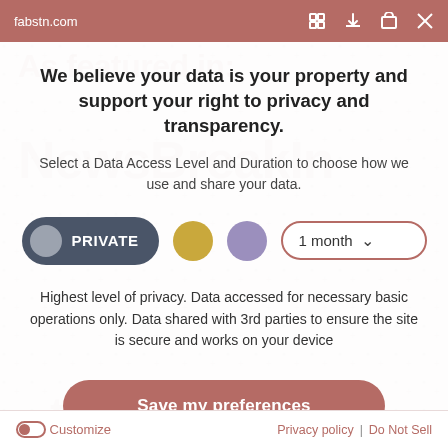fabstn.com
We believe your data is your property and support your right to privacy and transparency.
Select a Data Access Level and Duration to choose how we use and share your data.
[Figure (infographic): Privacy level selector with PRIVATE toggle button (dark grey pill with grey circle), a yellow circle, a purple circle, and a '1 month' dropdown with down arrow]
Highest level of privacy. Data accessed for necessary basic operations only. Data shared with 3rd parties to ensure the site is secure and works on your device
Save my preferences
Customize   Privacy policy  |  Do Not Sell